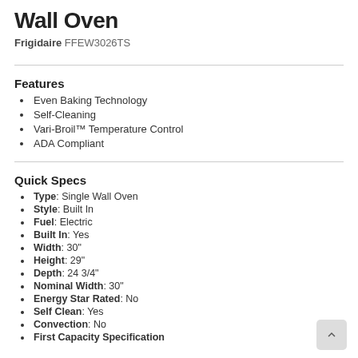Wall Oven
Frigidaire FFEW3026TS
Features
Even Baking Technology
Self-Cleaning
Vari-Broil™ Temperature Control
ADA Compliant
Quick Specs
Type: Single Wall Oven
Style: Built In
Fuel: Electric
Built In: Yes
Width: 30"
Height: 29"
Depth: 24 3/4"
Nominal Width: 30"
Energy Star Rated: No
Self Clean: Yes
Convection: No
First Capacity Specification (partial)